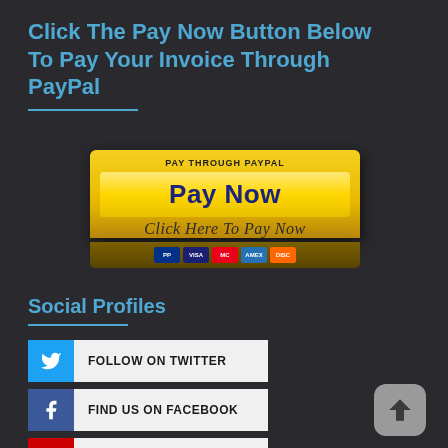Click The Pay Now Button Below To Pay Your Invoice Through PayPal
[Figure (illustration): PayPal Pay Now button graphic with yellow gradient background, 'PAY THROUGH PAYPAL' label, 'Pay Now' button, 'Click Here To Pay Now' text, and payment card icons (PayPal, Visa, Mastercard, Amex, Discover)]
Social Profiles
FOLLOW ON TWITTER
FIND US ON FACEBOOK
SUBSCRIBE ON YOUTUBE